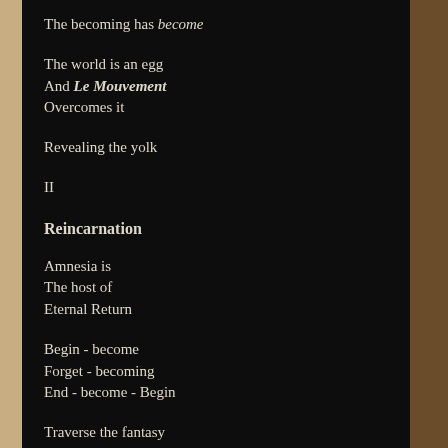The becoming has become
The world is an egg
And Le Mouvement
Overcomes it
Revealing the yolk
II
Reincarnation
Amnesia is
The host of
Eternal Return
Begin - become
Forget - becoming
End - become - Begin
Traverse the fantasy
Complete the circle